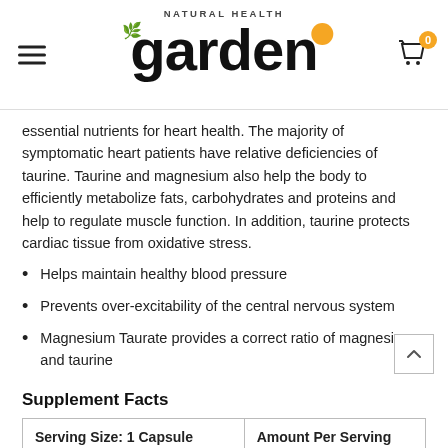Natural Health Garden — navigation header with logo and cart
essential nutrients for heart health. The majority of symptomatic heart patients have relative deficiencies of taurine. Taurine and magnesium also help the body to efficiently metabolize fats, carbohydrates and proteins and help to regulate muscle function. In addition, taurine protects cardiac tissue from oxidative stress.
Helps maintain healthy blood pressure
Prevents over-excitability of the central nervous system
Magnesium Taurate provides a correct ratio of magnesium and taurine
Supplement Facts
| Serving Size: 1 Capsule | Amount Per Serving |
| --- | --- |
| Taurine | 300 mg |
| Magnesium (as taurate) | 47... |